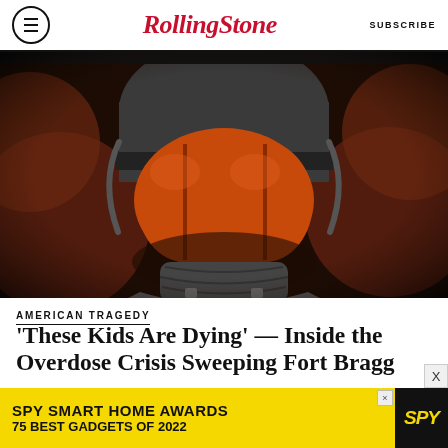RollingStone — SUBSCRIBE
[Figure (illustration): Illustrated soldier in military gear and helmet, face obscured by large orange pills forming a visor/mask. Background features large dark rust-colored circular pill shapes. Black and white with orange accent colors.]
AMERICAN TRAGEDY
'These Kids Are Dying' — Inside the Overdose Crisis Sweeping Fort Bragg
[Figure (other): Advertisement banner: SPY SMART HOME AWARDS / 75 BEST GADGETS OF 2022 with SPY logo on black background, yellow background]